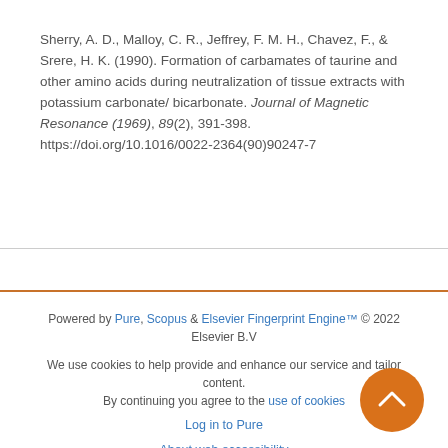Sherry, A. D., Malloy, C. R., Jeffrey, F. M. H., Chavez, F., & Srere, H. K. (1990). Formation of carbamates of taurine and other amino acids during neutralization of tissue extracts with potassium carbonate/ bicarbonate. Journal of Magnetic Resonance (1969), 89(2), 391-398. https://doi.org/10.1016/0022-2364(90)90247-7
Powered by Pure, Scopus & Elsevier Fingerprint Engine™ © 2022 Elsevier B.V
We use cookies to help provide and enhance our service and tailor content. By continuing you agree to the use of cookies
Log in to Pure
About web accessibility